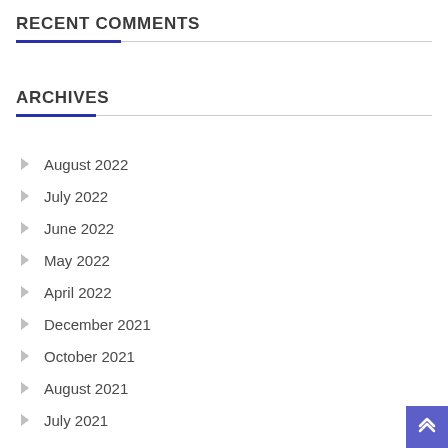RECENT COMMENTS
ARCHIVES
August 2022
July 2022
June 2022
May 2022
April 2022
December 2021
October 2021
August 2021
July 2021